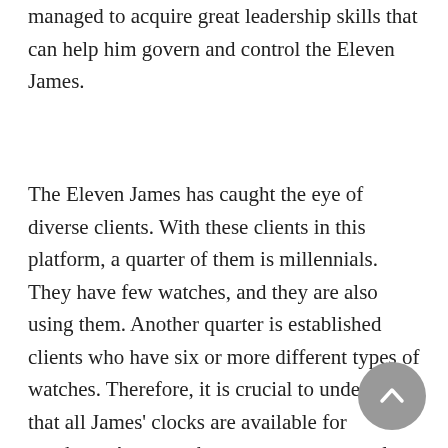managed to acquire great leadership skills that can help him govern and control the Eleven James.
The Eleven James has caught the eye of diverse clients. With these clients in this platform, a quarter of them is millennials. They have few watches, and they are also using them. Another quarter is established clients who have six or more different types of watches. Therefore, it is crucial to understand that all James' clocks are available for purchase. As a member or a user, you can loan or sell your watch to the company to offset the cost of membership.